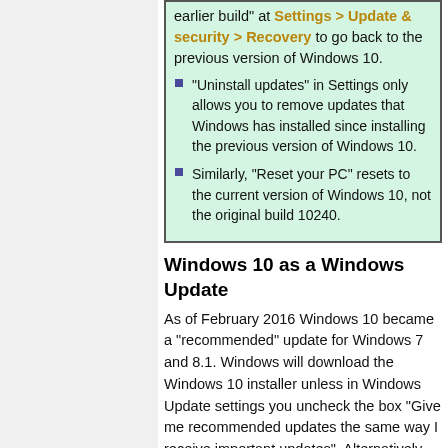earlier build" at Settings > Update & security > Recovery to go back to the previous version of Windows 10.
"Uninstall updates" in Settings only allows you to remove updates that Windows has installed since installing the previous version of Windows 10.
Similarly, "Reset your PC" resets to the current version of Windows 10, not the original build 10240.
Windows 10 as a Windows Update
As of February 2016 Windows 10 became a "recommended" update for Windows 7 and 8.1. Windows will download the Windows 10 installer unless in Windows Update settings you uncheck the box "Give me recommended updates the same way I receive important updates". Alternatively, you can leave this box